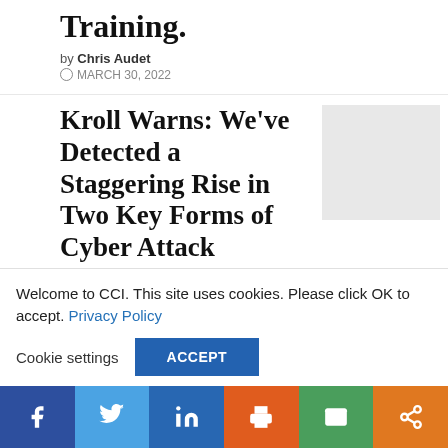Training.
by Chris Audet
MARCH 30, 2022
Kroll Warns: We've Detected a Staggering Rise in Two Key Forms of Cyber Attack
[Figure (photo): Thumbnail image placeholder for Kroll article]
by Alan E. Brill
MARCH 22, 2022
To Ensure Action...
Welcome to CCI. This site uses cookies. Please click OK to accept. Privacy Policy
Cookie settings
ACCEPT